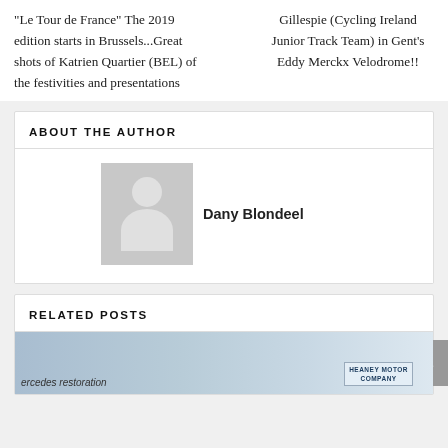“Le Tour de France” The 2019 edition starts in Brussels…Great shots of Katrien Quartier (BEL) of the festivities and presentations
Gillespie (Cycling Ireland Junior Track Team) in Gent’s Eddy Merckx Velodrome!!
ABOUT THE AUTHOR
Dany Blondeel
RELATED POSTS
[Figure (photo): Partial image of what appears to be a mercedes restoration and Heaney Motor Company banner]